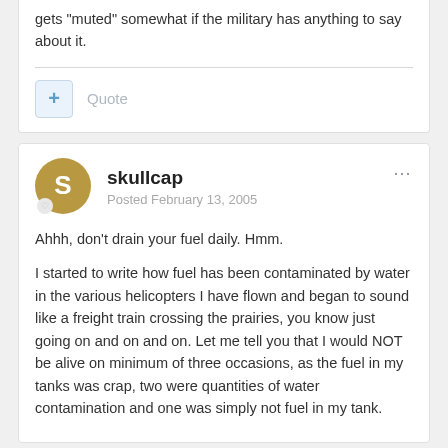gets "muted" somewhat if the military has anything to say about it.
Quote
skullcap
Posted February 13, 2005
Ahhh, don't drain your fuel daily. Hmm.

I started to write how fuel has been contaminated by water in the various helicopters I have flown and began to sound like a freight train crossing the prairies, you know just going on and on and on. Let me tell you that I would NOT be alive on minimum of three occasions, as the fuel in my tanks was crap, two were quantities of water contamination and one was simply not fuel in my tank.